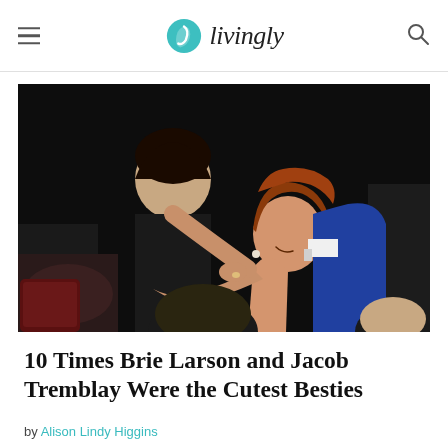livingly
[Figure (photo): Brie Larson hugging Jacob Tremblay at what appears to be an awards ceremony. She is wearing a blue dress and leaning down to embrace the young boy in a black suit. Other people are visible in the background.]
10 Times Brie Larson and Jacob Tremblay Were the Cutest Besties
by Alison Lindy Higgins